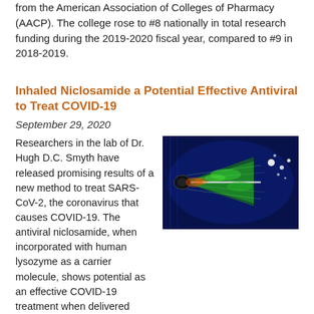from the American Association of Colleges of Pharmacy (AACP). The college rose to #8 nationally in total research funding during the 2019-2020 fiscal year, compared to #9 in 2018-2019.
Inhaled Niclosamide a Potential Effective Antiviral to Treat COVID-19
September 29, 2020
[Figure (photo): Fluorescence microscopy image showing an aerosol spray from a nozzle with green-highlighted particles against a dark blue background.]
Researchers in the lab of Dr. Hugh D.C. Smyth have released promising results of a new method to treat SARS-CoV-2, the coronavirus that causes COVID-19. The antiviral niclosamide, when incorporated with human lysozyme as a carrier molecule, shows potential as an effective COVID-19 treatment when delivered directly to the airways.
Vasquez collaborates on paper published in Nature
August 3, 2018
[Figure (photo): Partial view of a person's face/portrait photo, cropped at the bottom of the page.]